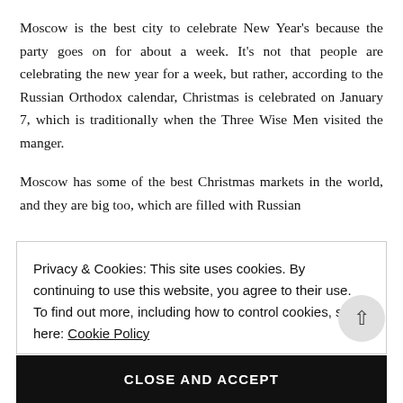Moscow is the best city to celebrate New Year's because the party goes on for about a week. It's not that people are celebrating the new year for a week, but rather, according to the Russian Orthodox calendar, Christmas is celebrated on January 7, which is traditionally when the Three Wise Men visited the manger.
Moscow has some of the best Christmas markets in the world, and they are big too, which are filled with Russian...
Privacy & Cookies: This site uses cookies. By continuing to use this website, you agree to their use.
To find out more, including how to control cookies, see here: Cookie Policy
CLOSE AND ACCEPT